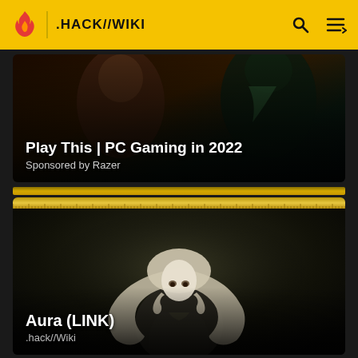.HACK//WIKI
[Figure (screenshot): Ad banner for Play This | PC Gaming in 2022, sponsored by Razer, with dark fantasy game character artwork]
Play This | PC Gaming in 2022
Sponsored by Razer
[Figure (illustration): Aura (LINK) anime character illustration - a girl with long silver/white flowing hair, from the .hack//Wiki wiki page]
Aura (LINK)
.hack//Wiki